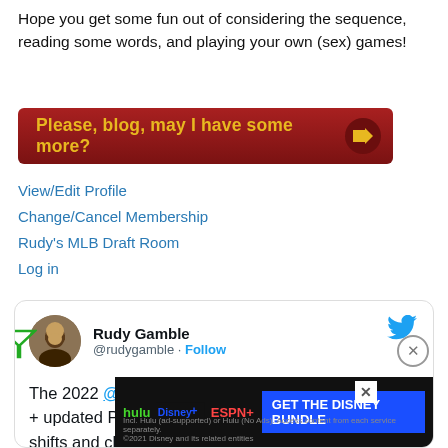Hope you get some fun out of considering the sequence, reading some words, and playing your own (sex) games!
[Figure (other): Dark red button with text 'Please, blog, may I have some more?' and arrow icon]
View/Edit Profile
Change/Cancel Membership
Rudy's MLB Draft Room
Log in
[Figure (screenshot): Embedded tweet from @rudygamble (Rudy Gamble) with Twitter bird logo. Header shows avatar, name, handle, Follow link. Body text: 'The 2022 @Razzball / @steamerpro v1 projections + updated Player Raters are up. Expect a lot of little shifts and changes over the next month.' Partially visible next line starts 'Also' and 'is no'. Ad overlay at bottom: Disney Bundle (Hulu, Disney+, ESPN+).]